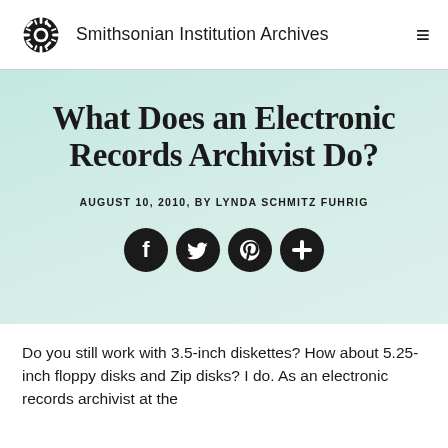Smithsonian Institution Archives
What Does an Electronic Records Archivist Do?
AUGUST 10, 2010, BY LYNDA SCHMITZ FUHRIG
[Figure (other): Social media share icons: Facebook, Twitter, Pinterest, and More (plus sign) as dark circular buttons]
Do you still work with 3.5-inch diskettes? How about 5.25-inch floppy disks and Zip disks? I do. As an electronic records archivist at the